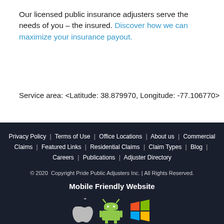Our licensed public insurance adjusters serve the needs of you – the insured. Discover how we can maximize your insurance payout.
Service area: <Latitude: 38.879970, Longitude: -77.106770>
Privacy Policy | Terms of Use | Office Locations | About us | Commercial Claims | Featured Links | Residential Claims | Claim Types | Blog | Careers | Publications | Adjuster Directory
© 2020 Copyright Pride Public Adjusters Inc. | All Rights Reserved.
Mobile Friendly Website
[Figure (logo): Apple, Android, and Windows mobile platform icons]